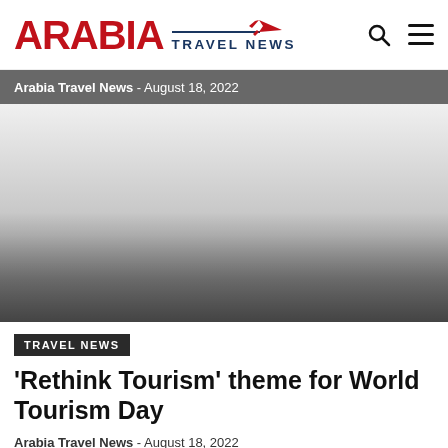ARABIA TRAVEL NEWS
Arabia Travel News - August 18, 2022
[Figure (photo): Hero image area with light gray gradient fade, representing a travel/tourism photograph that fades to white at top and to dark gray at bottom]
TRAVEL NEWS
'Rethink Tourism' theme for World Tourism Day
Arabia Travel News - August 18, 2022